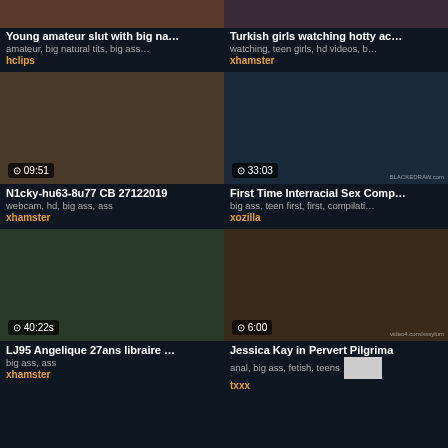[Figure (screenshot): Video thumbnail top left - partially visible at top]
[Figure (screenshot): Video thumbnail top right - partially visible at top]
Young amateur slut with big na…
amateur, big natural tits, big ass…
hclips
Turkish girls watching hotty ac…
watching, teen girls, hd videos, b…
xhamster
[Figure (screenshot): Video thumbnail 09:51 - woman in white shorts]
[Figure (screenshot): Video thumbnail 33:03 - bedroom scene]
N1cky-hu63-8u77 CB 27122019
webcam, hd, big ass, ass
xhamster
First Time Interracial Sex Comp…
big ass, teen first, first, compilati…
xozilla
[Figure (screenshot): Video thumbnail 40:22s - woman outdoors]
[Figure (screenshot): Video thumbnail 6:00 - woman crying]
LJ95 Angelique 27ans libraire …
big ass, ass
xhamster
Jessica Kay in Pervert Pilgrima
anal, big ass, fetish, teens
txxx